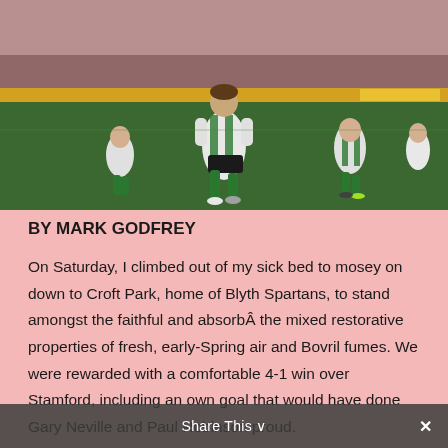[Figure (photo): Football players in green and white striped jerseys celebrating on a pitch at Croft Park, home of Blyth Spartans. Main player in foreground running, others visible in background.]
BY MARK GODFREY
On Saturday, I climbed out of my sick bed to mosey on down to Croft Park, home of Blyth Spartans, to stand amongst the faithful and absorbÂ the mixed restorative properties of fresh, early-Spring air and Bovril fumes. We were rewarded with a comfortable 4-1 win over Stamford, including an own goal that would have done Gary Neville and Paul Robinson proud.
Share This ∨   ✕